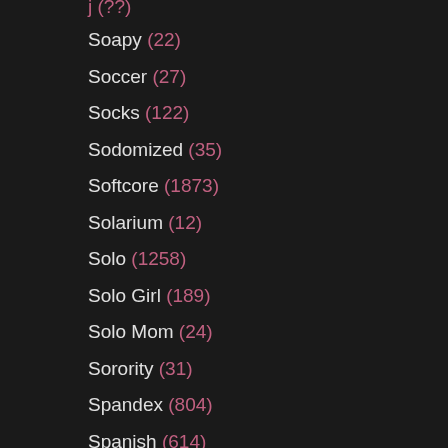Soapy (22)
Soccer (27)
Socks (122)
Sodomized (35)
Softcore (1873)
Solarium (12)
Solo (1258)
Solo Girl (189)
Solo Mom (24)
Sorority (31)
Spandex (804)
Spanish (614)
Spanking (1248)
Speculum (34)
Sperm (426)